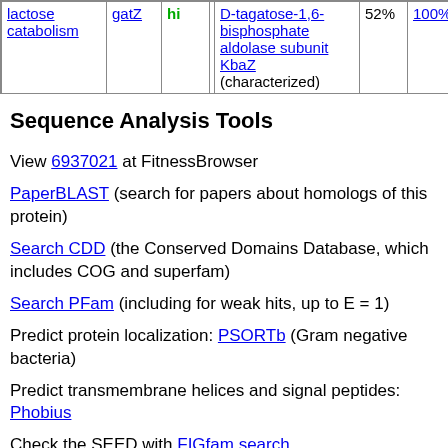|  | gatZ | hi |  | D-tagatose-1,6-bisphosphate aldolase subunit KbaZ (characterized) | 52% | 100% | 409.8 | D-tagatose-phosphate epimerase [EC:5.1.3.4 |
| --- | --- | --- | --- | --- | --- | --- | --- | --- |
| lactose catabolism | gatZ | hi |  | D-tagatose-1,6-bisphosphate aldolase subunit KbaZ (characterized) | 52% | 100% | 409.8 | D-tagatose-phosphate epimerase [EC:5.1.3.4 |
Sequence Analysis Tools
View 6937021 at FitnessBrowser
PaperBLAST (search for papers about homologs of this protein)
Search CDD (the Conserved Domains Database, which includes COG and superfam)
Search PFam (including for weak hits, up to E = 1)
Predict protein localization: PSORTb (Gram negative bacteria)
Predict transmembrane helices and signal peptides: Phobius
Check the SEED with FIGfam search
Fitness BLAST: loading...